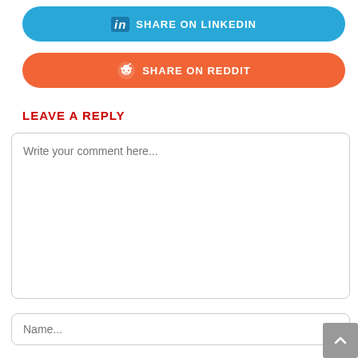[Figure (other): LinkedIn share button — blue rounded rectangle with 'in' icon and text 'SHARE ON LINKEDIN']
[Figure (other): Reddit share button — orange rounded rectangle with Reddit alien icon and text 'SHARE ON REDDIT']
LEAVE A REPLY
Write your comment here...
Name...